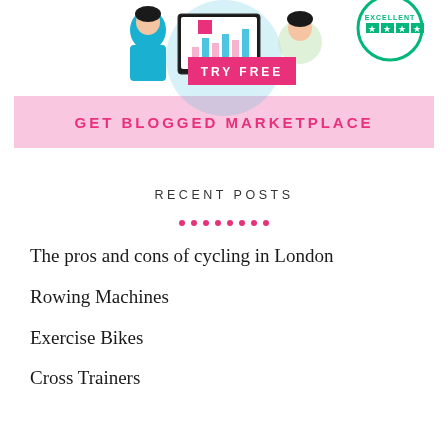[Figure (illustration): Illustration banner showing a person looking at charts/data on a computer screen with a Trustpilot Excellent badge, a pink 'TRY FREE' button overlay, and a pink banner reading 'GET BLOGGED MARKETPLACE']
RECENT POSTS
The pros and cons of cycling in London
Rowing Machines
Exercise Bikes
Cross Trainers